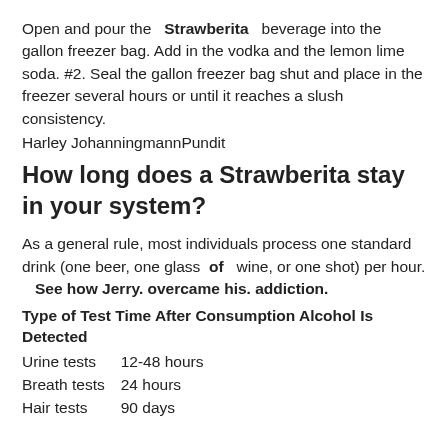Open and pour the Strawberita beverage into the gallon freezer bag. Add in the vodka and the lemon lime soda. #2. Seal the gallon freezer bag shut and place in the freezer several hours or until it reaches a slush consistency.
Harley JohanningmannPundit
How long does a Strawberita stay in your system?
As a general rule, most individuals process one standard drink (one beer, one glass of wine, or one shot) per hour. See how Jerry. overcame his. addiction.
| Type of Test | Time After Consumption Alcohol Is Detected |
| --- | --- |
| Urine tests | 12-48 hours |
| Breath tests | 24 hours |
| Hair tests | 90 days |